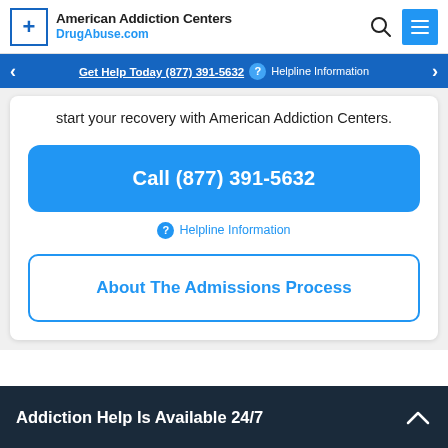American Addiction Centers DrugAbuse.com
Get Help Today (877) 391-5632 ? Helpline Information
start your recovery with American Addiction Centers.
Call (877) 391-5632
? Helpline Information
About The Admissions Process
Addiction Help Is Available 24/7